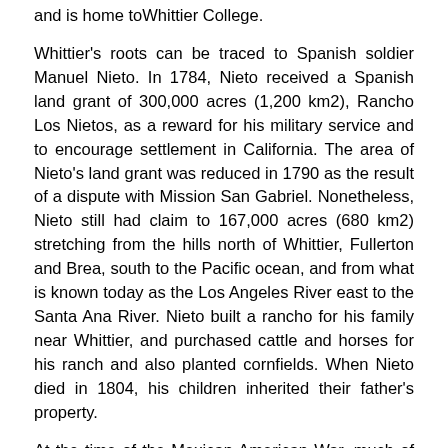and is home toWhittier College.
Whittier's roots can be traced to Spanish soldier Manuel Nieto. In 1784, Nieto received a Spanish land grant of 300,000 acres (1,200 km2), Rancho Los Nietos, as a reward for his military service and to encourage settlement in California. The area of Nieto's land grant was reduced in 1790 as the result of a dispute with Mission San Gabriel. Nonetheless, Nieto still had claim to 167,000 acres (680 km2) stretching from the hills north of Whittier, Fullerton and Brea, south to the Pacific ocean, and from what is known today as the Los Angeles River east to the Santa Ana River. Nieto built a rancho for his family near Whittier, and purchased cattle and horses for his ranch and also planted cornfields. When Nieto died in 1804, his children inherited their father's property.
At the time of the Mexican-American War, much of Whittier was owned by Pio Pico, a rancher and the last Mexican governor of California. Pio Pico built a hacienda in Whittier on the San Gabriel River, which today is known as Pio Pico State Historic Park Following the Mexican-American war, German immigrant Jacob F. Gerkens paid $234 to the U.S. government to acquire 160 acres (0.6 km2) of land under the Homestead Act and built